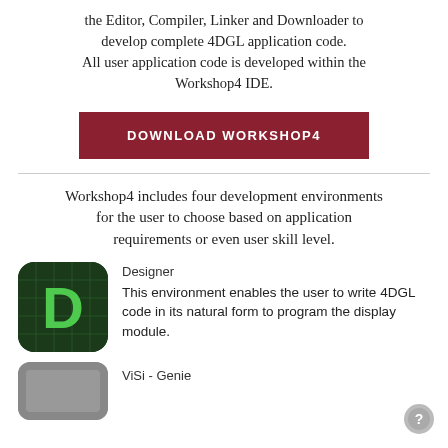the Editor, Compiler, Linker and Downloader to develop complete 4DGL application code. All user application code is developed within the Workshop4 IDE.
[Figure (other): Dark red/maroon rectangular download button with white uppercase text: DOWNLOAD WORKSHOP4]
Workshop4 includes four development environments for the user to choose based on application requirements or even user skill level.
[Figure (illustration): Green Designer app icon with capital letter D on dark green background with rounded corners]
Designer
This environment enables the user to write 4DGL code in its natural form to program the display module.
[Figure (illustration): ViSi - Genie app icon, partially visible at bottom]
ViSi - Genie